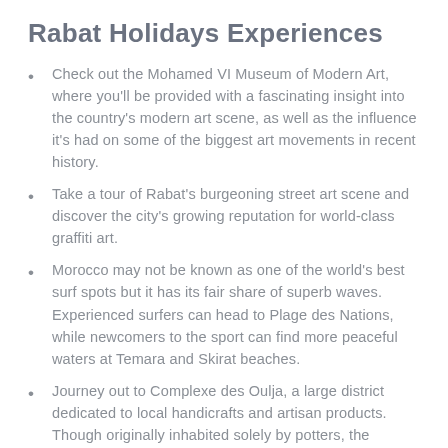Rabat Holidays Experiences
Check out the Mohamed VI Museum of Modern Art, where you'll be provided with a fascinating insight into the country's modern art scene, as well as the influence it's had on some of the biggest art movements in recent history.
Take a tour of Rabat's burgeoning street art scene and discover the city's growing reputation for world-class graffiti art.
Morocco may not be known as one of the world's best surf spots but it has its fair share of superb waves. Experienced surfers can head to Plage des Nations, while newcomers to the sport can find more peaceful waters at Temara and Skirat beaches.
Journey out to Complexe des Oulja, a large district dedicated to local handicrafts and artisan products. Though originally inhabited solely by potters, the complex is now home to